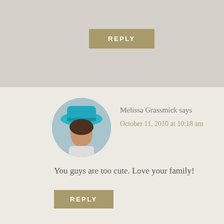REPLY
[Figure (photo): Circular avatar photo of Melissa Grassmick wearing a turquoise/teal cowboy hat, looking sideways, outdoors background]
Melissa Grassmick says
October 11, 2010 at 10:18 am
You guys are too cute. Love your family!
REPLY
[Figure (photo): Circular avatar photo of The Healthy Apple, a woman with long blonde hair, wearing a dark jacket, smiling]
The Healthy Apple says
October 13, 2010 at 9:52 am